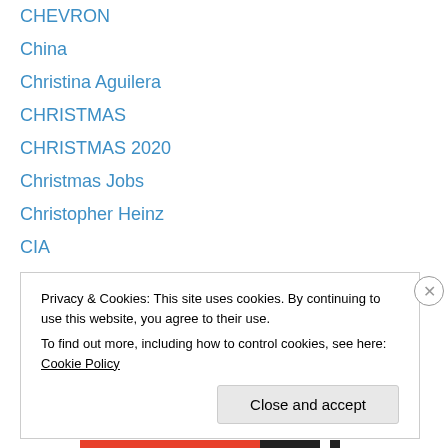CHEVRON
China
Christina Aguilera
CHRISTMAS
CHRISTMAS 2020
Christmas Jobs
Christopher Heinz
CIA
CIA Drugs
CIA TERRORISTS
Citizens United
Civil Rights
Climate
Climate Summit 2014
Privacy & Cookies: This site uses cookies. By continuing to use this website, you agree to their use. To find out more, including how to control cookies, see here: Cookie Policy
Close and accept